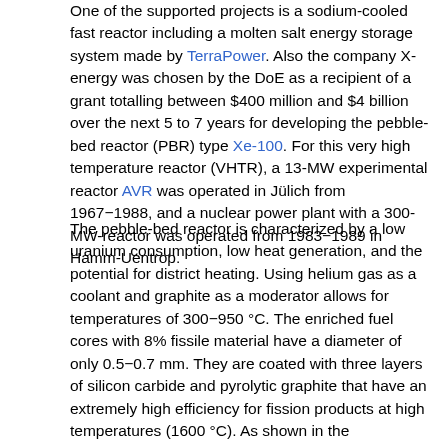One of the supported projects is a sodium-cooled fast reactor including a molten salt energy storage system made by TerraPower. Also the company X-energy was chosen by the DoE as a recipient of a grant totalling between $400 million and $4 billion over the next 5 to 7 years for developing the pebble-bed reactor (PBR) type Xe-100. For this very high temperature reactor (VHTR), a 13-MW experimental reactor AVR was operated in Jülich from 1967−1988, and a nuclear power plant with a 300-MW-reactor was operated from 1983−1989 in Hamm-Uentrop.
The pebble-bed reactor is characterized by a low uranium consumption, low heat generation, and the potential for district heating. Using helium gas as a coolant and graphite as a moderator allows for temperatures of 300−950 °C. The enriched fuel cores with 8% fissile material have a diameter of only 0.5−0.7 mm. They are coated with three layers of silicon carbide and pyrolytic graphite that have an extremely high efficiency for fission products at high temperatures (1600 °C). As shown in the Euronuclear figure to the right, the small spheres are pressed in a fuel element-graphite matrix with a diameter of 6 cm. If the permeation of oxygen is prevented, the fuel does